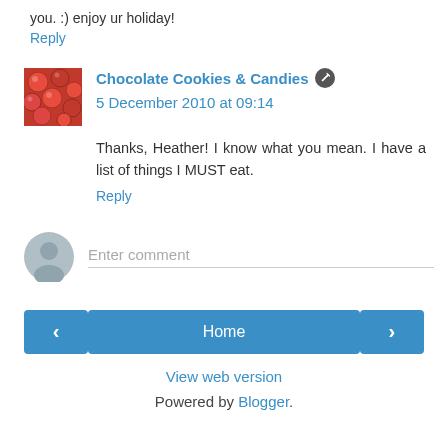you. :) enjoy ur holiday!
Reply
[Figure (photo): Avatar image showing red/pink round candies or cookies]
Chocolate Cookies & Candies  5 December 2010 at 09:14
Thanks, Heather! I know what you mean. I have a list of things I MUST eat.
Reply
Enter comment
Home
View web version
Powered by Blogger.